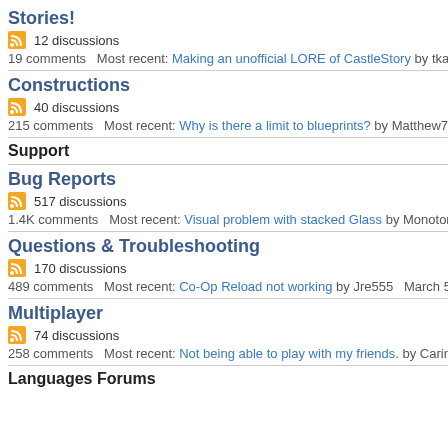Stories!
12 discussions
19 comments   Most recent: Making an unofficial LORE of CastleStory by tka4nik   January
Constructions
40 discussions
215 comments   Most recent: Why is there a limit to blueprints? by Matthew7991   February
Support
Bug Reports
517 discussions
1.4K comments   Most recent: Visual problem with stacked Glass by Monotony   February 2
Questions & Troubleshooting
170 discussions
489 comments   Most recent: Co-Op Reload not working by Jre555   March 5
Multiplayer
74 discussions
258 comments   Most recent: Not being able to play with my friends. by Carinha97   March
Languages Forums